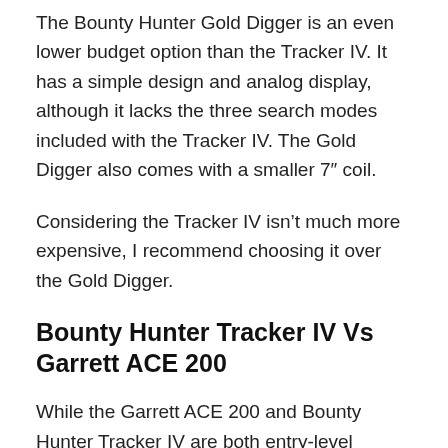The Bounty Hunter Gold Digger is an even lower budget option than the Tracker IV. It has a simple design and analog display, although it lacks the three search modes included with the Tracker IV. The Gold Digger also comes with a smaller 7″ coil.
Considering the Tracker IV isn't much more expensive, I recommend choosing it over the Gold Digger.
Bounty Hunter Tracker IV Vs Garrett ACE 200
While the Garrett ACE 200 and Bounty Hunter Tracker IV are both entry-level detectors, the Garrett is a step up in terms of features.